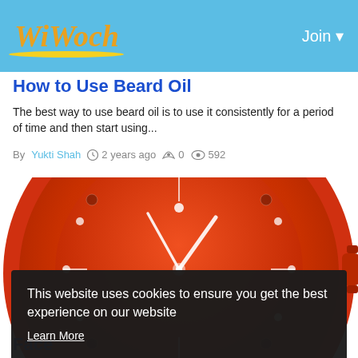WiWoch — Join
How to Use Beard Oil
The best way to use beard oil is to use it consistently for a period of time and then start using...
By Yukti Shah  2 years ago  0  592
[Figure (photo): Close-up photo of an orange/red watch face with white hands and dial markers]
This website uses cookies to ensure you get the best experience on our website
Learn More
Got It!
Face